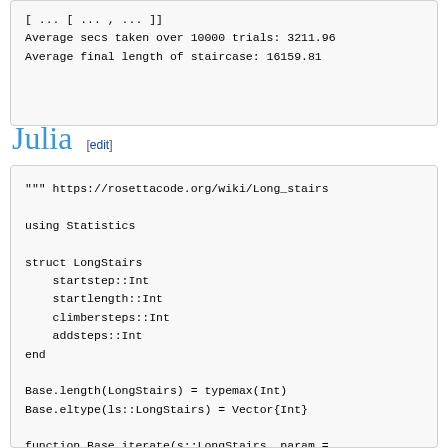Average secs taken over 10000 trials: 3211.96
Average final length of staircase: 16159.81
Julia [edit]
""" https://rosettacode.org/wiki/Long_stairs

using Statistics

struct LongStairs
    startstep::Int
    startlength::Int
    climbersteps::Int
    addsteps::Int
end

Base.length(LongStairs) = typemax(Int)
Base.eltype(ls::LongStairs) = Vector{Int}

function Base.iterate(s::LongStairs, param =
    pos, len = param